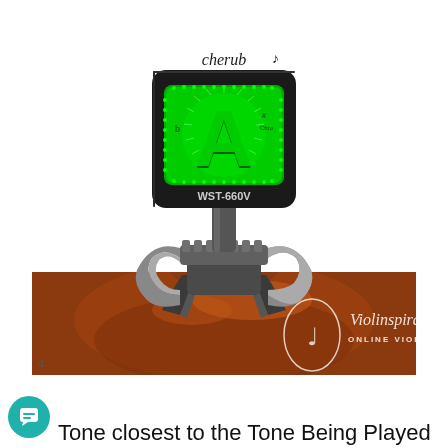[Figure (photo): A Cherub WST-660V clip-on chromatic tuner with a green LED display showing the note 'A', clipped onto the scroll/pegbox of a violin. The tuner has a black square body with a bright green screen and is mounted on the violin's reddish-brown wood. The Violinspiration Online Violin Lessons watermark is visible in the bottom right of the image.]
Tone closest to the Tone Being Played